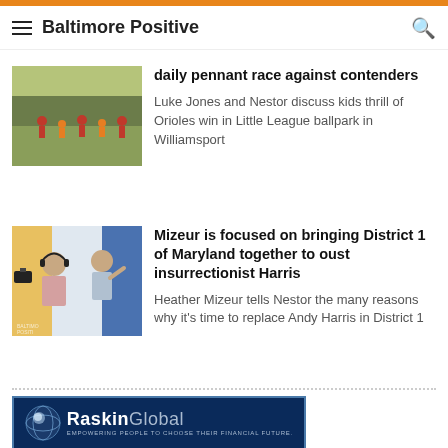Baltimore Positive
daily pennant race against contenders
Luke Jones and Nestor discuss kids thrill of Orioles win in Little League ballpark in Williamsport
Mizeur is focused on bringing District 1 of Maryland together to oust insurrectionist Harris
Heather Mizeur tells Nestor the many reasons why it's time to replace Andy Harris in District 1
[Figure (illustration): Raskin Global advertisement banner: globe logo, text RASKIN GLOBAL, tagline EMPOWERING PEOPLE TO CHOOSE THEIR FINANCIAL FUTURE.]